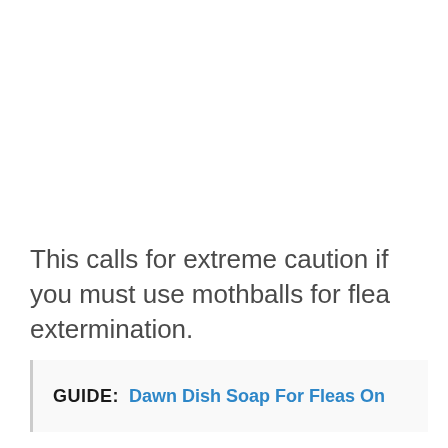This calls for extreme caution if you must use mothballs for flea extermination.
GUIDE: Dawn Dish Soap For Fleas On